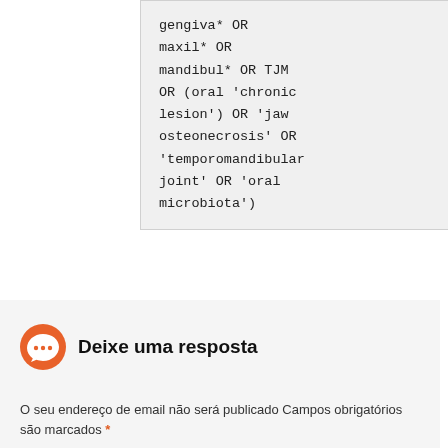gengiva* OR maxil* OR mandibul* OR TJM OR (oral 'chronic lesion') OR 'jaw osteonecrosis' OR 'temporomandibular joint' OR 'oral microbiota')
Deixe uma resposta
O seu endereço de email não será publicado Campos obrigatórios são marcados *